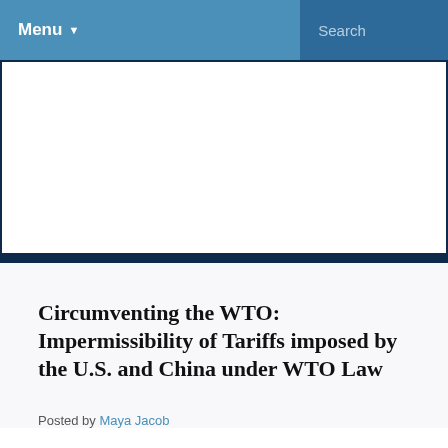Menu  Search
[Figure (other): White rectangle image placeholder with dark navy border]
Circumventing the WTO: Impermissibility of Tariffs imposed by the U.S. and China under WTO Law
Posted by Maya Jacob